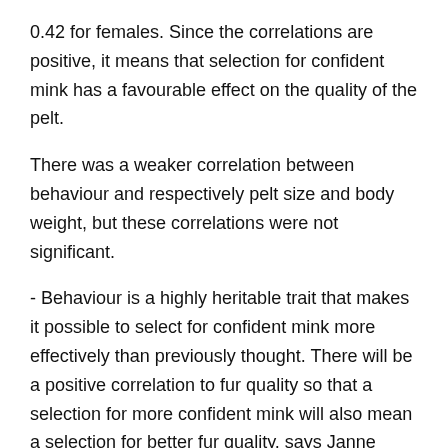0.42 for females. Since the correlations are positive, it means that selection for confident mink has a favourable effect on the quality of the pelt.
There was a weaker correlation between behaviour and respectively pelt size and body weight, but these correlations were not significant.
- Behaviour is a highly heritable trait that makes it possible to select for confident mink more effectively than previously thought. There will be a positive correlation to fur quality so that a selection for more confident mink will also mean a selection for better fur quality, says Janne Thirstrup.
The study, which was financially supported by Kopenhagen Fur, confirms that the genetic basis...